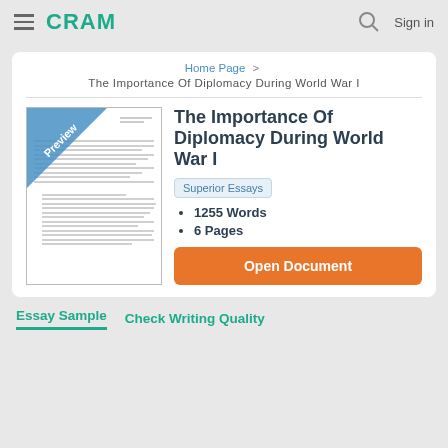CRAM  Sign in
Home Page > The Importance Of Diplomacy During World War I
The Importance Of Diplomacy During World War I
[Figure (illustration): Document preview thumbnail with 'Preview' diagonal banner in blue and simulated text lines]
Superior Essays
1255 Words
6 Pages
Open Document
Essay Sample  Check Writing Quality